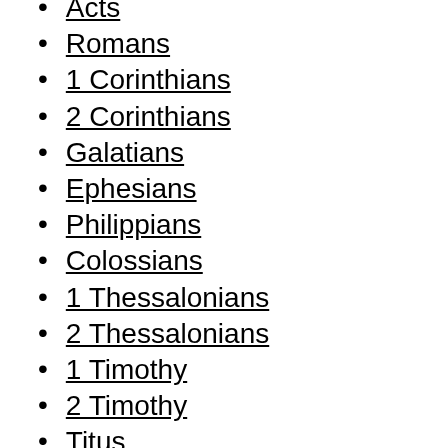Acts
Romans
1 Corinthians
2 Corinthians
Galatians
Ephesians
Philippians
Colossians
1 Thessalonians
2 Thessalonians
1 Timothy
2 Timothy
Titus